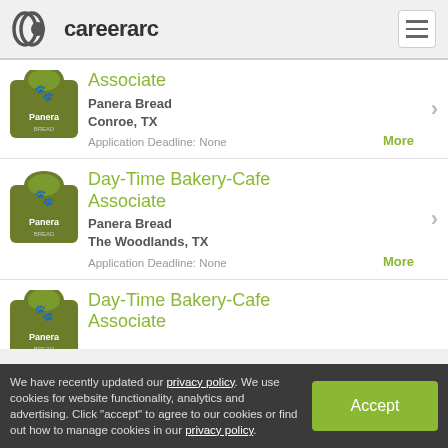careerarc
Associate — Panera Bread, Conroe, TX. Application Deadline: None
Day-Time Bakery-Cafe Associate — Panera Bread, The Woodlands, TX. Application Deadline: None
Day-Time Bakery-Cafe Associate (partial)
We have recently updated our privacy policy. We use cookies for website functionality, analytics and advertising. Click "accept" to agree to our cookies or find out how to manage cookies in our privacy policy.